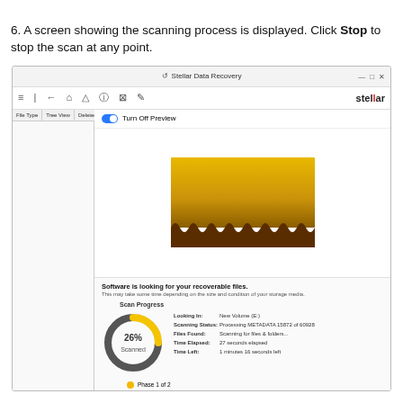6. A screen showing the scanning process is displayed. Click Stop to stop the scan at any point.
[Figure (screenshot): Stellar Data Recovery application window showing scanning process. Has title bar, toolbar with icons and 'stellar' logo, left sidebar with File Type/Tree View/Deleted List tabs, and main area showing a golden/brown textured scan animation image, 'Turn Off Preview' toggle, scan progress info with 26% Scanned circular indicator, status details (Looking In: New Volume (E:), Scanning Status: Processing METADATA 15872 of 60928, Files Found: Scanning for files & folders..., Time Elapsed: 27 seconds elapsed, Time Left: 1 minutes 16 seconds left), Phase 1 of 2 indicator.]